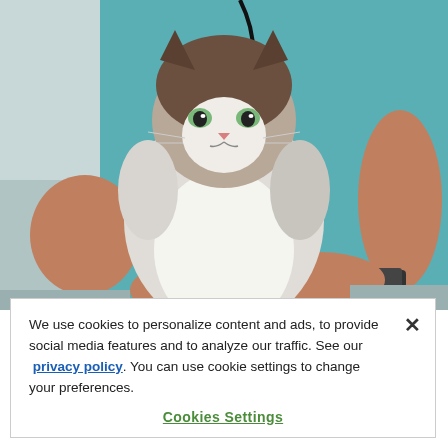[Figure (photo): A veterinarian in teal scrubs holding a fluffy brown and white long-haired cat on an examination table. The vet's hands are supporting the cat from below and a stethoscope is visible. The cat has green eyes and looks directly at the camera.]
We use cookies to personalize content and ads, to provide social media features and to analyze our traffic. See our privacy policy. You can use cookie settings to change your preferences.
Cookies Settings